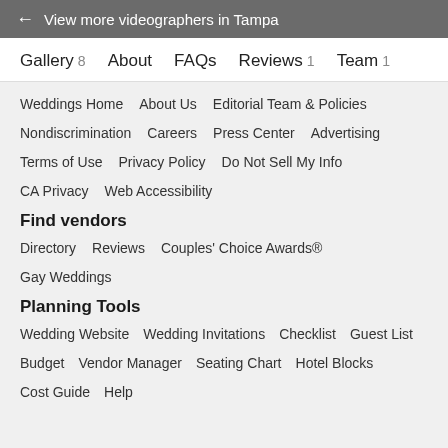← View more videographers in Tampa
Gallery 8   About   FAQs   Reviews 1   Team 1
Weddings Home   About Us   Editorial Team & Policies
Nondiscrimination   Careers   Press Center   Advertising
Terms of Use   Privacy Policy   Do Not Sell My Info
CA Privacy   Web Accessibility
Find vendors
Directory   Reviews   Couples' Choice Awards®
Gay Weddings
Planning Tools
Wedding Website   Wedding Invitations   Checklist   Guest List
Budget   Vendor Manager   Seating Chart   Hotel Blocks
Cost Guide   Help